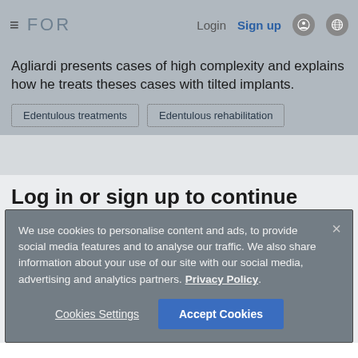FOR  Login  Sign up
Agliardi presents cases of high complexity and explains how he treats theses cases with tilted implants.
Edentulous treatments
Edentulous rehabilitation
Log in or sign up to continue
We use cookies to personalise content and ads, to provide social media features and to analyse our traffic. We also share information about your use of our site with our social media, advertising and analytics partners. Privacy Policy